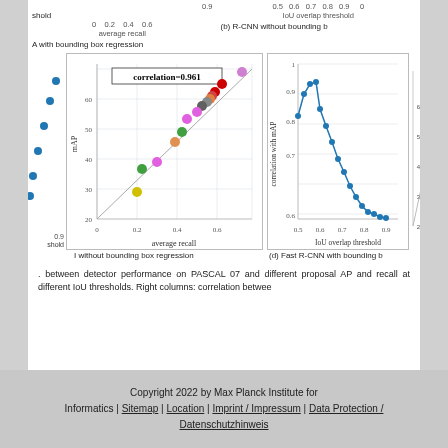[Figure (scatter-plot): Scatter plot with diagonal reference line, correlation=0.961, mAP vs average recall, colored dots]
I without bounding box regression
[Figure (line-chart): Line chart showing correlation with mAP vs IoU overlap threshold, 0.5 to 0.95, peak around 0.6]
(d) Fast R-CNN with bounding b
A with bounding box regression
(b) R-CNN without bounding b
. between detector performance on PASCAL 07 and different proposal AP and recall at different IoU thresholds. Right columns: correlation betwee
Copyright 2022 by Max Planck Institute for Informatics | Sitemap | Location | Imprint / Impressum | Data Protection / Datenschutzhinweis